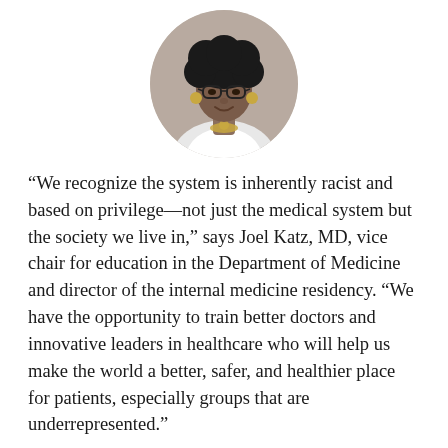[Figure (photo): Circular portrait photo of a woman with curly hair, glasses, gold earrings, a gold necklace, and a white medical coat]
“We recognize the system is inherently racist and based on privilege—not just the medical system but the society we live in,” says Joel Katz, MD, vice chair for education in the Department of Medicine and director of the internal medicine residency. “We have the opportunity to train better doctors and innovative leaders in healthcare who will help us make the world a better, safer, and healthier place for patients, especially groups that are underrepresented.”
Katz, Stone, and their colleagues—in concert with residents—are looking at the internal medicine training program through an equity lens. They’re asking deep